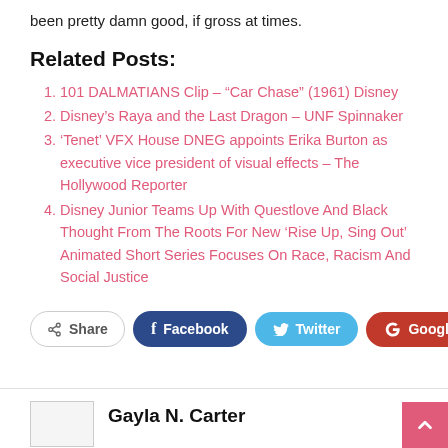been pretty damn good, if gross at times.
Related Posts:
101 DALMATIANS Clip – “Car Chase” (1961) Disney
Disney’s Raya and the Last Dragon – UNF Spinnaker
‘Tenet’ VFX House DNEG appoints Erika Burton as executive vice president of visual effects – The Hollywood Reporter
Disney Junior Teams Up With Questlove And Black Thought From The Roots For New ‘Rise Up, Sing Out’ Animated Short Series Focuses On Race, Racism And Social Justice
Share  Facebook  Twitter  Google+  +
Gayla N. Carter